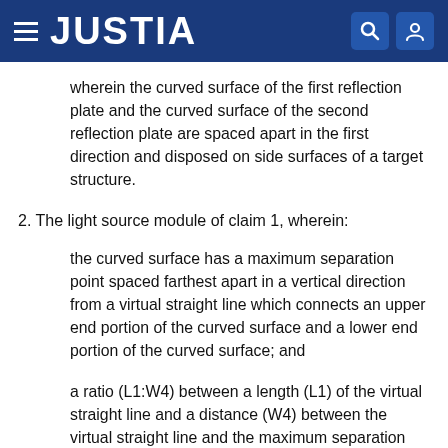JUSTIA
wherein the curved surface of the first reflection plate and the curved surface of the second reflection plate are spaced apart in the first direction and disposed on side surfaces of a target structure.
2. The light source module of claim 1, wherein:
the curved surface has a maximum separation point spaced farthest apart in a vertical direction from a virtual straight line which connects an upper end portion of the curved surface and a lower end portion of the curved surface; and
a ratio (L1:W4) between a length (L1) of the virtual straight line and a distance (W4) between the virtual straight line and the maximum separation